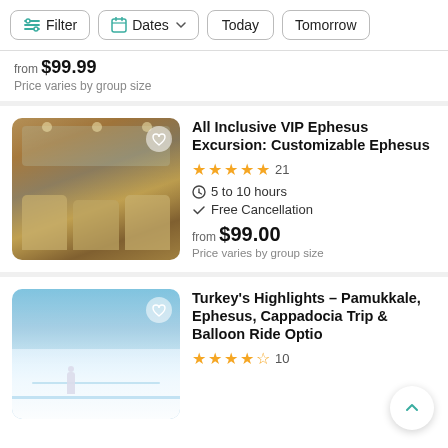Filter | Dates | Today | Tomorrow
from $99.99 (partially visible) — Price varies by group size
All Inclusive VIP Ephesus Excursion: Customizable Ephesus
★★★★★ 21 | 5 to 10 hours | Free Cancellation | from $99.00 | Price varies by group size
[Figure (photo): Interior of a luxury VIP van showing beige leather seats arranged in rows with windows and curtains]
Turkey's Highlights – Pamukkale, Ephesus, Cappadocia Trip & Balloon Ride Optio...
★★★★½ 10
[Figure (photo): Aerial view of Pamukkale white travertine terraces with blue thermal pools and a person in white standing in the water]